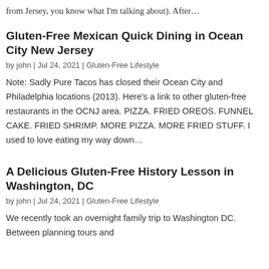from Jersey, you know what I'm talking about). After…
Gluten-Free Mexican Quick Dining in Ocean City New Jersey
by john  |  Jul 24, 2021  |  Gluten-Free Lifestyle
Note: Sadly Pure Tacos has closed their Ocean City and Philadelphia locations (2013).  Here's a link to other gluten-free restaurants in the OCNJ area. PIZZA.  FRIED OREOS.  FUNNEL CAKE.  FRIED SHRIMP.  MORE PIZZA.  MORE FRIED STUFF. I used to love eating my way down…
A Delicious Gluten-Free History Lesson in Washington, DC
by john  |  Jul 24, 2021  |  Gluten-Free Lifestyle
We recently took an overnight family trip to Washington DC.  Between planning tours and